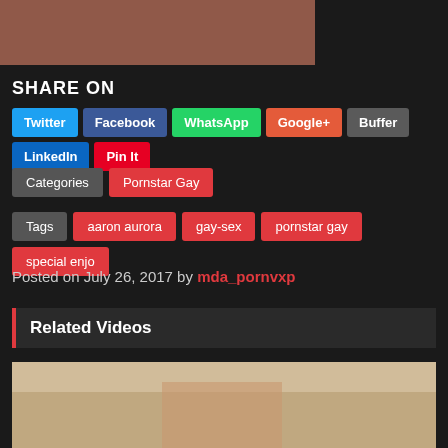[Figure (photo): Top partial image of a person outdoors on what appears to be a green surface]
SHARE ON
Twitter | Facebook | WhatsApp | Google+ | Buffer | LinkedIn | Pin It
Categories: Pornstar Gay
Tags: aaron aurora | gay-sex | pornstar gay | special enjo
Posted on July 26, 2017 by mda_pornvxp
Related Videos
[Figure (photo): Bottom image of a person in a room with beige walls]